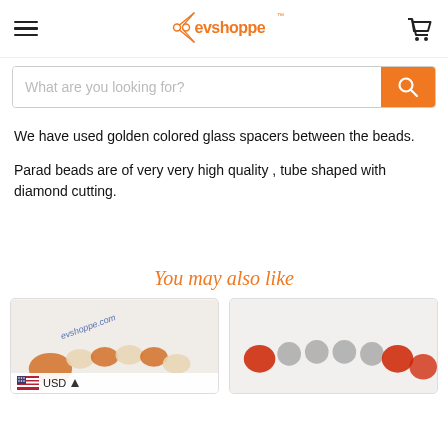evshoppe logo with hamburger menu and cart icon
[Figure (screenshot): Search bar with orange search button and placeholder text 'What are you looking for?']
We have used golden colored glass spacers between the beads.
Parad beads are of very very high quality , tube shaped with diamond cutting.
You may also like
[Figure (photo): Product photo of orange and pearl bead bracelet with evshoppe.com watermark]
[Figure (photo): Product photo of red and silver bead bracelet]